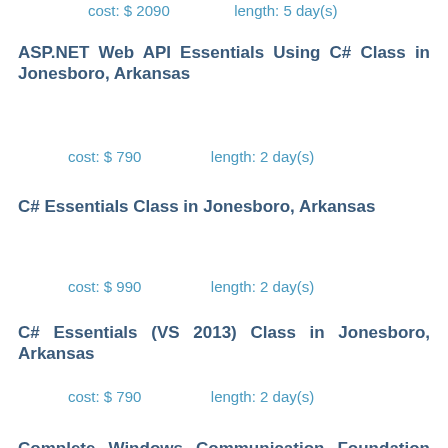cost: $ 2090    length: 5 day(s)
ASP.NET Web API Essentials Using C# Class in Jonesboro, Arkansas
cost: $ 790    length: 2 day(s)
C# Essentials Class in Jonesboro, Arkansas
cost: $ 990    length: 2 day(s)
C# Essentials (VS 2013) Class in Jonesboro, Arkansas
cost: $ 790    length: 2 day(s)
Complete Windows Communication Foundation (WCF) for .NET 4.0 Class in Jonesboro, Arkansas